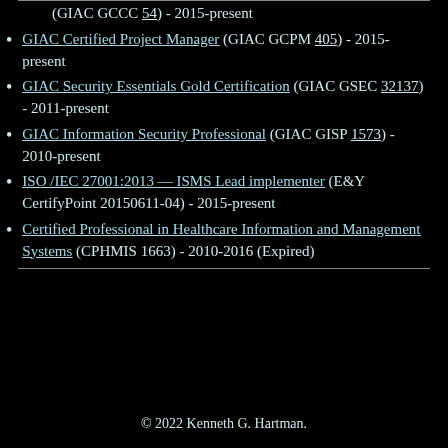(GIAC GCCC 54) - 2015-present
GIAC Certified Project Manager (GIAC GCPM 405) - 2015-present
GIAC Security Essentials Gold Certification (GIAC GSEC 32137) - 2011-present
GIAC Information Security Professional (GIAC GISP 1573) - 2010-present
ISO /IEC 27001:2013 — ISMS Lead implementer (E&Y CertifyPoint 20150611-04) - 2015-present
Certified Professional in Healthcare Information and Management Systems (CPHMIS 1663) - 2010-2016 (Expired)
© 2022 Kenneth G. Hartman.